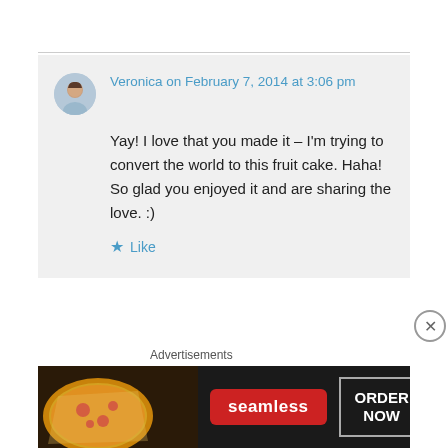Veronica on February 7, 2014 at 3:06 pm
Yay! I love that you made it – I'm trying to convert the world to this fruit cake. Haha! So glad you enjoyed it and are sharing the love. :)
★ Like
↪ Reply
Advertisements
[Figure (screenshot): Seamless food delivery advertisement banner with pizza image on left, Seamless logo in red, and ORDER NOW button on right against dark background]